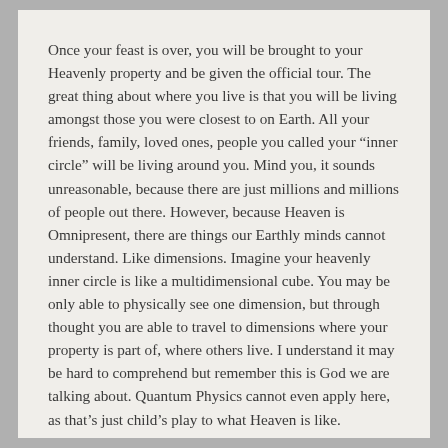Once your feast is over, you will be brought to your Heavenly property and be given the official tour. The great thing about where you live is that you will be living amongst those you were closest to on Earth. All your friends, family, loved ones, people you called your “inner circle” will be living around you. Mind you, it sounds unreasonable, because there are just millions and millions of people out there. However, because Heaven is Omnipresent, there are things our Earthly minds cannot understand. Like dimensions. Imagine your heavenly inner circle is like a multidimensional cube. You may be only able to physically see one dimension, but through thought you are able to travel to dimensions where your property is part of, where others live. I understand it may be hard to comprehend but remember this is God we are talking about. Quantum Physics cannot even apply here, as that’s just child’s play to what Heaven is like.